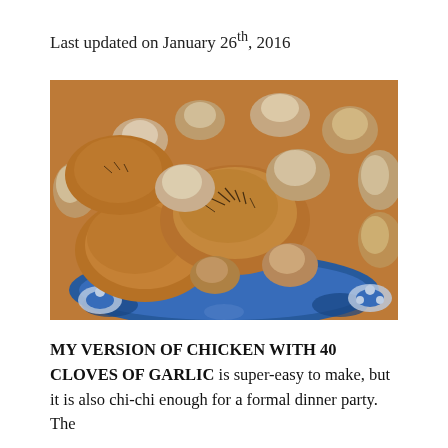Last updated on January 26th, 2016
[Figure (photo): A close-up photo of roasted chicken pieces with 40 cloves of garlic, garnished with herbs, served on a blue and white decorative plate.]
MY VERSION OF CHICKEN WITH 40 CLOVES OF GARLIC is super-easy to make, but it is also chi-chi enough for a formal dinner party. The